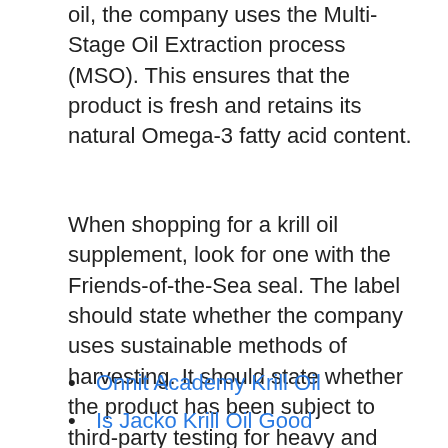oil, the company uses the Multi-Stage Oil Extraction process (MSO). This ensures that the product is fresh and retains its natural Omega-3 fatty acid content.
When shopping for a krill oil supplement, look for one with the Friends-of-the-Sea seal. The label should state whether the company uses sustainable methods of harvesting. It should state whether the product has been subject to third-party testing for heavy and other contaminants. These factors are worth paying extra for.
Onnit Academy Krill Oil
Is Jacko Krill Oil Good